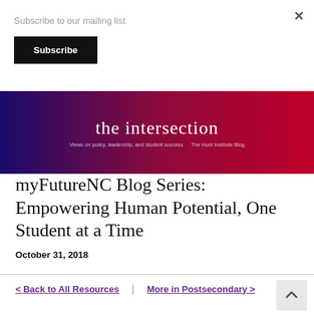Subscribe to our mailing list
Subscribe
[Figure (illustration): The Intersection blog banner with gradient background from dark blue/purple to red/crimson. Title reads 'the intersection' with subtitle 'Views on policy, leadership, and student success' and 'The Hunt Institute Blog']
myFutureNC Blog Series: Empowering Human Potential, One Student at a Time
October 31, 2018
< Back to All Resources  |  More in Postsecondary >